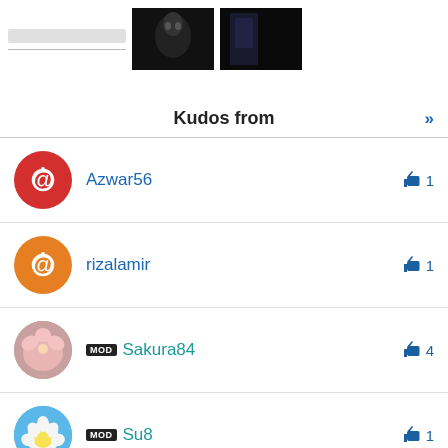[Figure (screenshot): Top bar with search bar placeholder and two dark thumbnail images]
Kudos from
Azwar56 — kudos 1
rizalamir — kudos 1
MOD Sakura84 — kudos 4
MOD Su8 — kudos 1
[Figure (screenshot): Two orange circular action buttons: upload/scroll-to-top and edit/pencil]